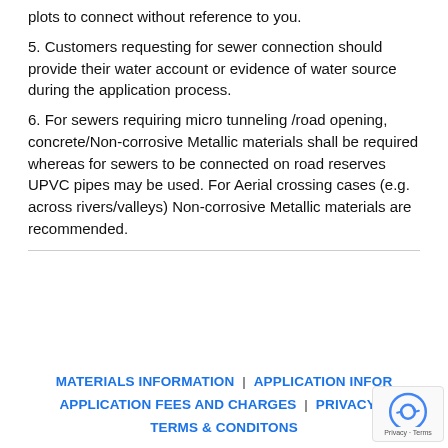plots to connect without reference to you.
5. Customers requesting for sewer connection should provide their water account or evidence of water source during the application process.
6. For sewers requiring micro tunneling /road opening, concrete/Non-corrosive Metallic materials shall be required whereas for sewers to be connected on road reserves UPVC pipes may be used. For Aerial crossing cases (e.g. across rivers/valleys) Non-corrosive Metallic materials are recommended.
MATERIALS INFORMATION | APPLICATION INFORMATION | APPLICATION FEES AND CHARGES | PRIVACY POLICY | TERMS & CONDITONS